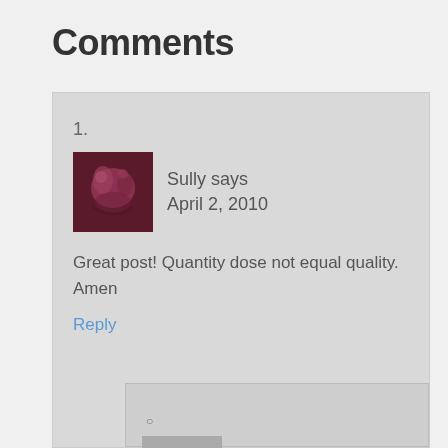Comments
1. Sully says April 2, 2010 — Great post! Quantity dose not equal quality. Amen — Reply
○ Everett Bogue says April 2, 2010